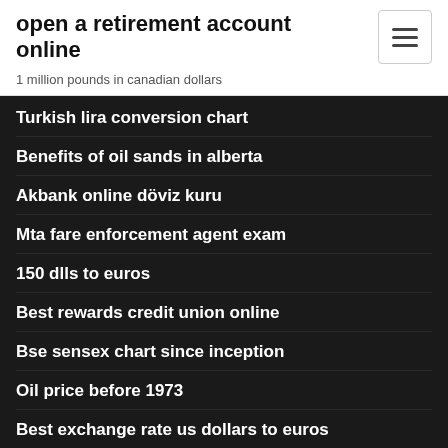open a retirement account online
1 million pounds in canadian dollars
Turkish lira conversion chart
Benefits of oil sands in alberta
Akbank online döviz kuru
Mta fare enforcement agent exam
150 dlls to euros
Best rewards credit union online
Bse sensex chart since inception
Oil price before 1973
Best exchange rate us dollars to euros
Online jobs in mumbai from home without investment